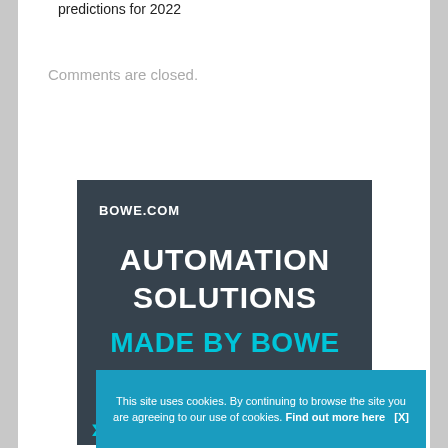predictions for 2022
Comments are closed.
[Figure (advertisement): Bowe.com advertisement banner with dark slate background. Top left shows 'BOWE.COM' in white bold text. Center shows 'AUTOMATION SOLUTIONS' in large white bold text and 'MADE BY BOWE INTRALOGISTICS' in large cyan bold text. Bottom left shows cyan chevron arrows.]
This site uses cookies. By continuing to browse the site you are agreeing to our use of cookies. Find out more here [X]